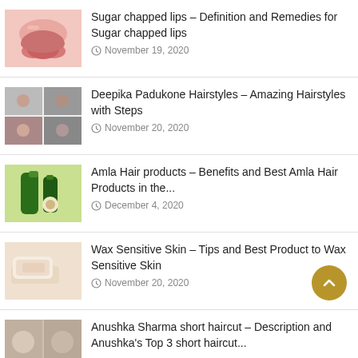[Figure (photo): Close-up photo of lips being touched]
Sugar chapped lips – Definition and Remedies for Sugar chapped lips
November 19, 2020
[Figure (photo): Collage of Deepika Padukone hairstyles]
Deepika Padukone Hairstyles – Amazing Hairstyles with Steps
November 20, 2020
[Figure (photo): Amla hair oil products on yellow-green background]
Amla Hair products – Benefits and Best Amla Hair Products in the...
December 4, 2020
[Figure (photo): Waxing sensitive skin photo]
Wax Sensitive Skin – Tips and Best Product to Wax Sensitive Skin
November 20, 2020
[Figure (photo): Anushka Sharma short haircut collage]
Anushka Sharma short haircut – Description and Anushka's Top 3 short haircut...